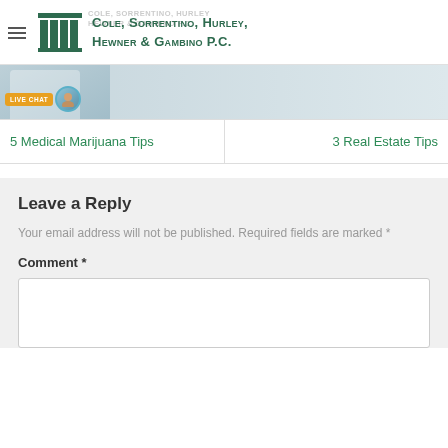Cole, Sorrentino, Hurley, Hewner & Gambino P.C.
[Figure (screenshot): Website banner with partial doctor image and live chat badge]
5 Medical Marijuana Tips
3 Real Estate Tips
Leave a Reply
Your email address will not be published. Required fields are marked *
Comment *